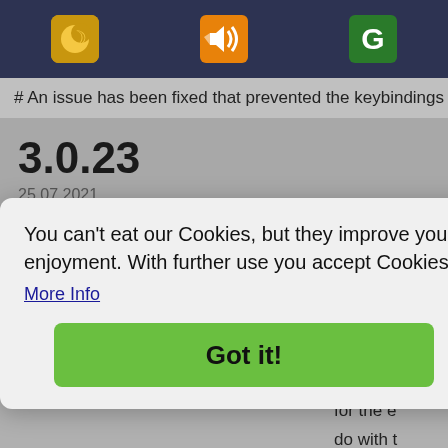[Figure (screenshot): Top navigation bar with three app icons on dark navy background: a crescent moon icon (gold), a speaker/audio icon (orange), and a G icon (green)]
# An issue has been fixed that prevented the keybindings fro
3.0.23
25.07.2021
# Further improvements and optimizations have been made
# Grinder should skin as usual again.
3.0.22
ibat syste
for the e
do with t
ation are
inored.
You can't eat our Cookies, but they improve your enjoyment. With further use you accept Cookies.
More Info
Got it!